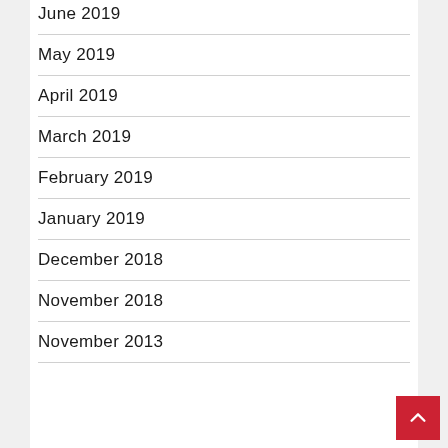June 2019
May 2019
April 2019
March 2019
February 2019
January 2019
December 2018
November 2018
November 2013